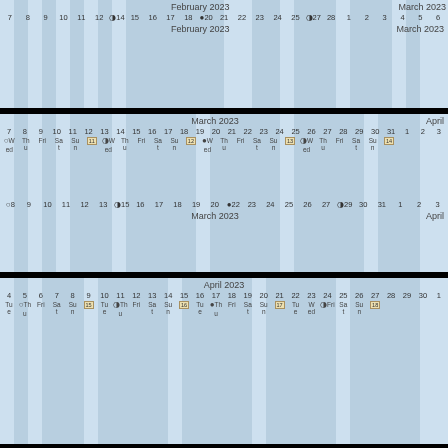[Figure (other): Calendar strip showing February 2023 / March 2023 with day numbers, moon phases, and week numbers]
[Figure (other): Calendar strip showing March 2023 / April with day numbers, weekday abbreviations, moon phases, and week numbers]
[Figure (other): Calendar strip showing April 2023 with day numbers, weekday abbreviations, moon phases, and week numbers]